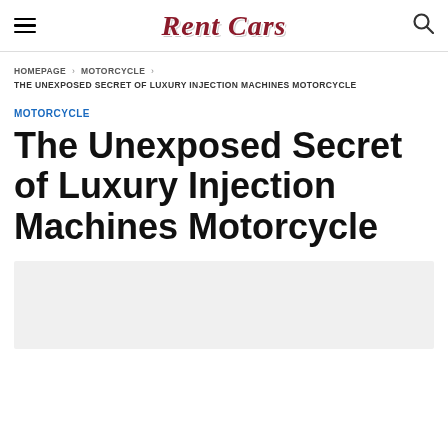Rent Cars
HOMEPAGE › MOTORCYCLE › THE UNEXPOSED SECRET OF LUXURY INJECTION MACHINES MOTORCYCLE
MOTORCYCLE
The Unexposed Secret of Luxury Injection Machines Motorcycle
[Figure (other): Light grey image placeholder area at bottom of page]